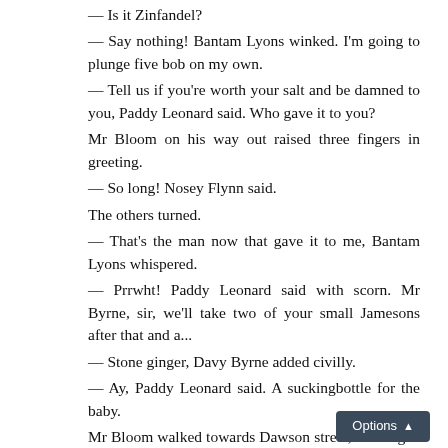— Is it Zinfandel?
— Say nothing! Bantam Lyons winked. I'm going to plunge five bob on my own.
— Tell us if you're worth your salt and be damned to you, Paddy Leonard said. Who gave it to you?
Mr Bloom on his way out raised three fingers in greeting.
— So long! Nosey Flynn said.
The others turned.
— That's the man now that gave it to me, Bantam Lyons whispered.
— Prrwht! Paddy Leonard said with scorn. Mr Byrne, sir, we'll take two of your small Jamesons after that and a...
— Stone ginger, Davy Byrne added civilly.
— Ay, Paddy Leonard said. A suckingbottle for the baby.
Mr Bloom walked towards Dawson street, his tongue brushing his teeth smooth. Somethi